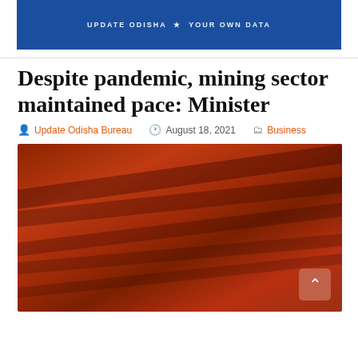[Figure (screenshot): Blue banner header of Update Odisha news website with white text]
Despite pandemic, mining sector maintained pace: Minister
Update Odisha Bureau  August 18, 2021  Business
[Figure (photo): Aerial view of open-cast iron ore mining site with reddish-brown terraced earth layers]